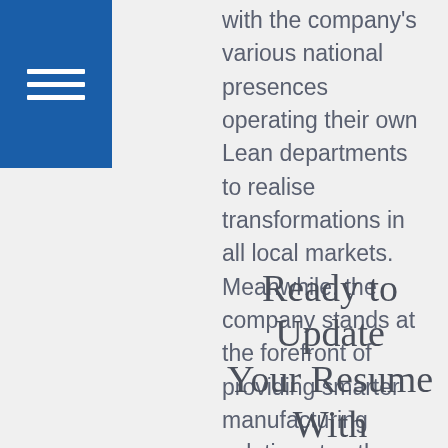[Figure (other): Blue square icon with three white horizontal lines (hamburger menu icon)]
with the company's various national presences operating their own Lean departments to realise transformations in all local markets. Meanwhile, the company stands at the forefront of providing smarter manufacturing solutions to other companies around the world. As one of their major production areas, Bosch develops a range of technology and equipment designed to help their customers bring about the Lean factories of the future.
Ready to Update Your Resume With